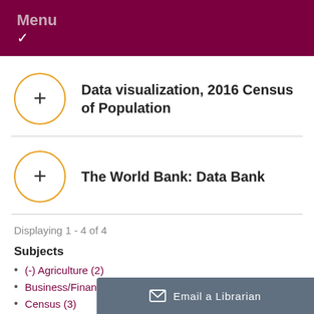Menu
Data visualization, 2016 Census of Population
The World Bank: Data Bank
Displaying 1 - 4 of 4
Subjects
(-) Agriculture (2)
Business/Financial (2)
Census (3)
Crime (1)
Email a Librarian